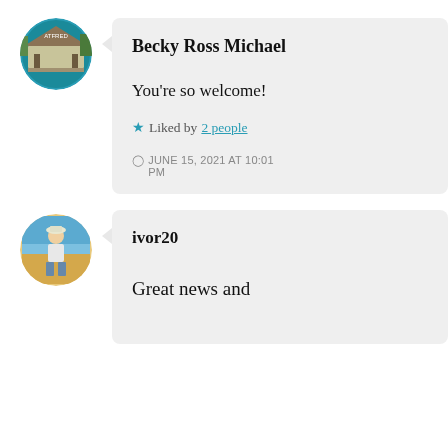[Figure (illustration): Circular avatar photo of Becky Ross Michael showing a covered outdoor structure]
Becky Ross Michael
You’re so welcome!
★ Liked by 2 people
○ JUNE 15, 2021 AT 10:01 PM
[Figure (photo): Circular avatar photo of ivor20 showing a man at a beach]
ivor20
Great news and